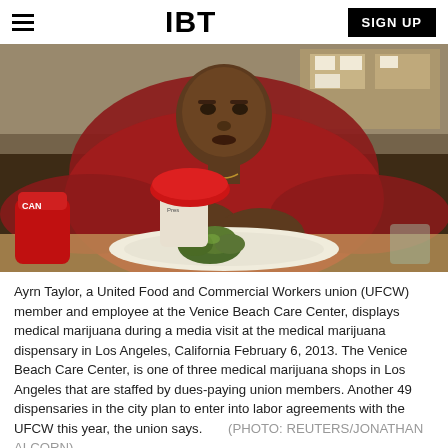IBT | SIGN UP
[Figure (photo): Ayrn Taylor, wearing a red jacket, a United Food and Commercial Workers union member and employee at the Venice Beach Care Center, displays medical marijuana on a white plate during a media visit at the medical marijuana dispensary in Los Angeles, California February 6, 2013.]
Ayrn Taylor, a United Food and Commercial Workers union (UFCW) member and employee at the Venice Beach Care Center, displays medical marijuana during a media visit at the medical marijuana dispensary in Los Angeles, California February 6, 2013. The Venice Beach Care Center, is one of three medical marijuana shops in Los Angeles that are staffed by dues-paying union members. Another 49 dispensaries in the city plan to enter into labor agreements with the UFCW this year, the union says. (PHOTO: REUTERS/JONATHAN ALCORN)